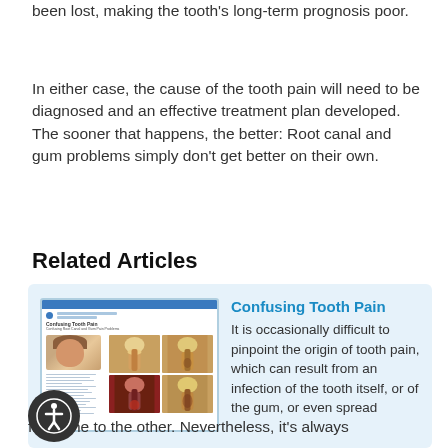been lost, making the tooth's long-term prognosis poor.
In either case, the cause of the tooth pain will need to be diagnosed and an effective treatment plan developed. The sooner that happens, the better: Root canal and gum problems simply don't get better on their own.
Related Articles
[Figure (illustration): Thumbnail image of 'Confusing Tooth Pain' article showing a smiling young man and four dental cross-section illustrations of tooth and gum anatomy.]
Confusing Tooth Pain
It is occasionally difficult to pinpoint the origin of tooth pain, which can result from an infection of the tooth itself, or of the gum, or even spread from one to the other. Nevertheless, it's always
from one to the other. Nevertheless, it's always